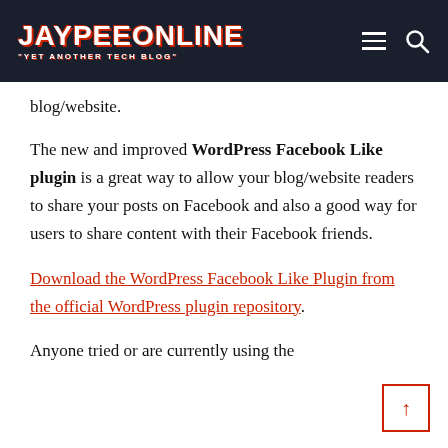JAYPEEONLINE "YET ANOTHER TECH BLOG"
blog/website.
The new and improved WordPress Facebook Like plugin is a great way to allow your blog/website readers to share your posts on Facebook and also a good way for users to share content with their Facebook friends.
Download the WordPress Facebook Like Plugin from the official WordPress plugin repository.
Anyone tried or are currently using the WordPress Facebook Like Plugin?